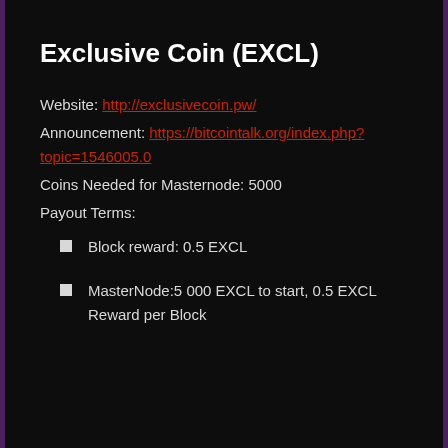Exclusive Coin (EXCL)
Website: http://exclusivecoin.pw/
Announcement: https://bitcointalk.org/index.php?topic=1546005.0
Coins Needed for Masternode: 5000
Payout Terms:
Block reward: 0.5 EXCL
MasterNode:5 000 EXCL to start, 0.5 EXCL Reward per Block